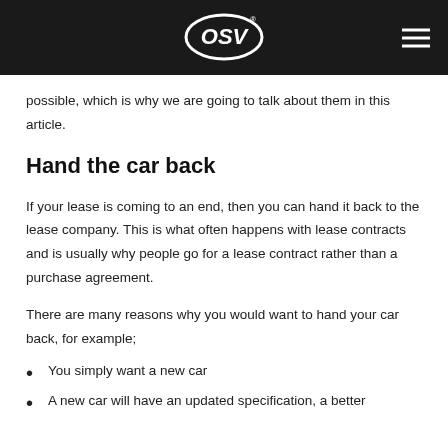OSV
possible, which is why we are going to talk about them in this article.
Hand the car back
If your lease is coming to an end, then you can hand it back to the lease company. This is what often happens with lease contracts and is usually why people go for a lease contract rather than a purchase agreement.
There are many reasons why you would want to hand your car back, for example;
You simply want a new car
A new car will have an updated specification, a better...